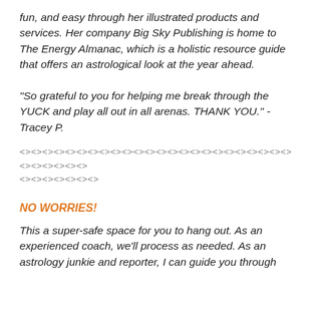fun, and easy through her illustrated products and services. Her company Big Sky Publishing is home to The Energy Almanac, which is a holistic resource guide that offers an astrological look at the year ahead.
"So grateful to you for helping me break through the YUCK and play all out in all arenas. THANK YOU." - Tracey P.
<><><><><><><><><><><><><><><><><><><><><><><><><><><><><>
NO WORRIES!
This a super-safe space for you to hang out. As an experienced coach, we'll process as needed. As an astrology junkie and reporter, I can guide you through